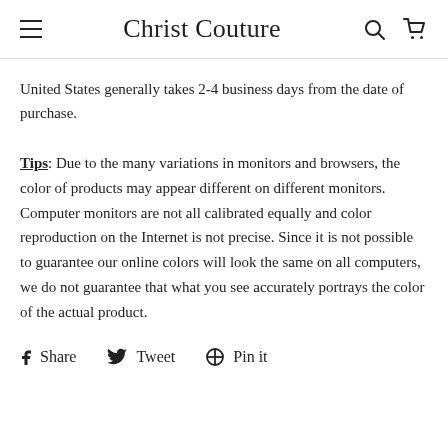Christ Couture
United States generally takes 2-4 business days from the date of purchase.
Tips: Due to the many variations in monitors and browsers, the color of products may appear different on different monitors. Computer monitors are not all calibrated equally and color reproduction on the Internet is not precise. Since it is not possible to guarantee our online colors will look the same on all computers, we do not guarantee that what you see accurately portrays the color of the actual product.
Share   Tweet   Pin it